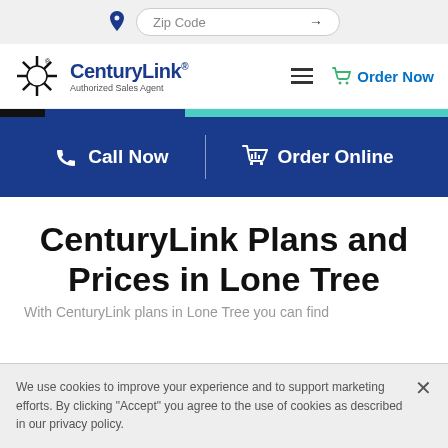Zip Code
[Figure (logo): CenturyLink Authorized Sales Agent logo with starburst icon]
[Figure (screenshot): Navigation bar with hamburger menu and Order Now link with green phone icon]
[Figure (infographic): Blue action bar with Call Now and Order Online options separated by a vertical divider]
CenturyLink Plans and Prices in Lone Tree
We use cookies to improve your experience and to support marketing efforts. By clicking "Accept" you agree to the use of cookies as described in our privacy policy.